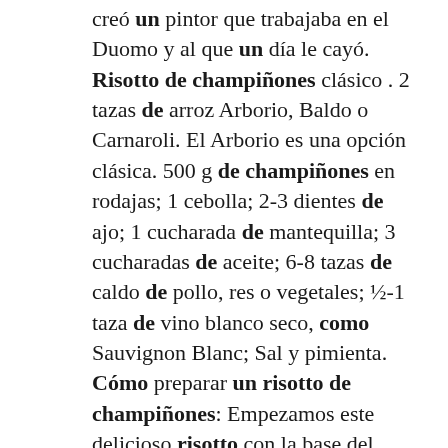creó un pintor que trabajaba en el Duomo y al que un día le cayó. Risotto de champiñones clásico . 2 tazas de arroz Arborio, Baldo o Carnaroli. El Arborio es una opción clásica. 500 g de champiñones en rodajas; 1 cebolla; 2-3 dientes de ajo; 1 cucharada de mantequilla; 3 cucharadas de aceite; 6-8 tazas de caldo de pollo, res o vegetales; ½-1 taza de vino blanco seco, como Sauvignon Blanc; Sal y pimienta. Cómo preparar un risotto de champiñones: Empezamos este delicioso risotto con la base del plato. Picamos la cebolla y el ajo, lo trocearemos todo bien fino y lo incorporamos a la sartén con un. Haz esta deliciosa receta de Risotto muy fácil y que a todos gusta. Extraordinario sabor. Consiste en añadir gradualmente caldo al arroz y hay multitud de recetas para hacer el risotto: risotto bianco, risotto de tomate, risotto de pera, puerro y